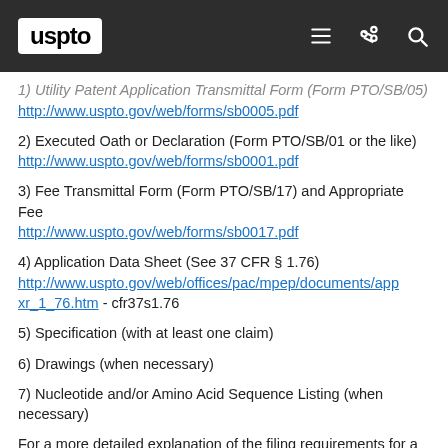USPTO
1) Utility Patent Application Transmittal Form (Form PTO/SB/05)
http://www.uspto.gov/web/forms/sb0005.pdf
2) Executed Oath or Declaration (Form PTO/SB/01 or the like)
http://www.uspto.gov/web/forms/sb0001.pdf
3) Fee Transmittal Form (Form PTO/SB/17) and Appropriate Fee
http://www.uspto.gov/web/forms/sb0017.pdf
4) Application Data Sheet (See 37 CFR § 1.76)
http://www.uspto.gov/web/offices/pac/mpep/documents/appxr_1_76.htm - cfr37s1.76
5) Specification (with at least one claim)
6) Drawings (when necessary)
7) Nucleotide and/or Amino Acid Sequence Listing (when necessary)
For a more detailed explanation of the filing requirements for a